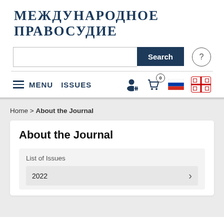МЕЖДУНАРОДНОЕ  ПРАВОСУДИЕ
[Figure (screenshot): Search bar with Search button and help icon]
MENU  ISSUES
Home > About the Journal
About the Journal
List of Issues
2022